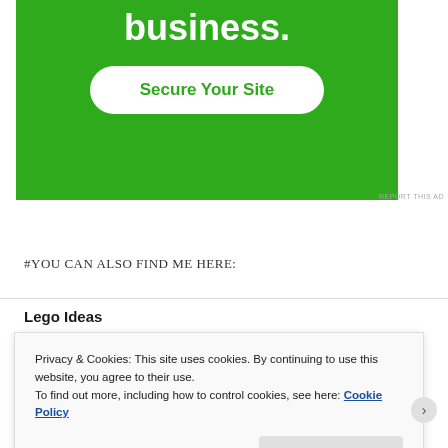[Figure (screenshot): Green advertisement banner with white bold text 'business.' and a white rounded button labeled 'Secure Your Site' in green text]
REPORT THIS AD
#YOU CAN ALSO FIND ME HERE:
Lego Ideas
Privacy & Cookies: This site uses cookies. By continuing to use this website, you agree to their use. To find out more, including how to control cookies, see here: Cookie Policy
Close and accept